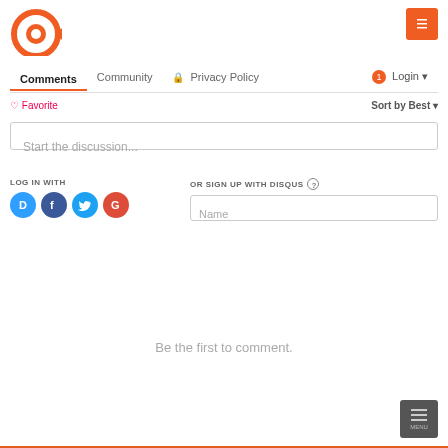[Figure (logo): Disqus orange eye/target logo in top left]
[Figure (other): Orange square button with white icon top right]
Comments  Community  Privacy Policy  Login
Favorite   Sort by Best
Start the discussion...
LOG IN WITH
[Figure (other): Social login icons: Disqus (D), Facebook (f), Twitter bird, Google (G)]
OR SIGN UP WITH DISQUS
Name
Be the first to comment.
[Figure (other): Dark grey square button bottom right]